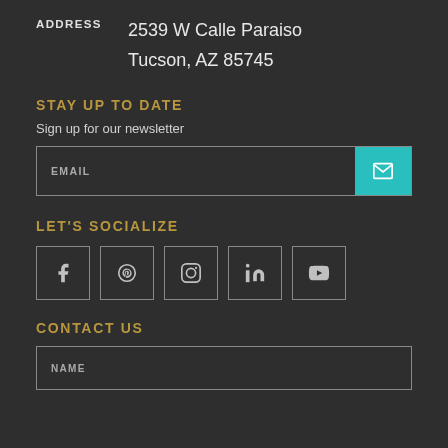ADDRESS   2539 W Calle Paraiso
           Tucson, AZ 85745
STAY UP TO DATE
Sign up for our newsletter
[Figure (other): Email input field with teal submit button containing envelope icon]
LET'S SOCIALIZE
[Figure (other): Social media icons row: Facebook, Pinterest, Instagram, LinkedIn, YouTube]
CONTACT US
[Figure (other): Name input field]